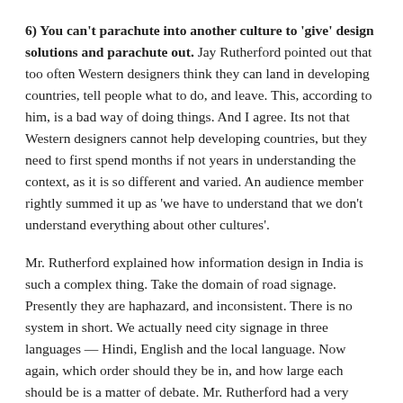6) You can't parachute into another culture to 'give' design solutions and parachute out. Jay Rutherford pointed out that too often Western designers think they can land in developing countries, tell people what to do, and leave. This, according to him, is a bad way of doing things. And I agree. Its not that Western designers cannot help developing countries, but they need to first spend months if not years in understanding the context, as it is so different and varied. An audience member rightly summed it up as 'we have to understand that we don't understand everything about other cultures'.
Mr. Rutherford explained how information design in India is such a complex thing. Take the domain of road signage. Presently they are haphazard, and inconsistent. There is no system in short. We actually need city signage in three languages — Hindi, English and the local language. Now again, which order should they be in, and how large each should be is a matter of debate. Mr. Rutherford had a very keen observation about our Indian airports which set me thinking. He noticed, while in Bangalore airport, that the English signage was much larger than the Hindi and Kannada signage which immediately followed it. He was wondering why this was, and indeed it is strange that our own